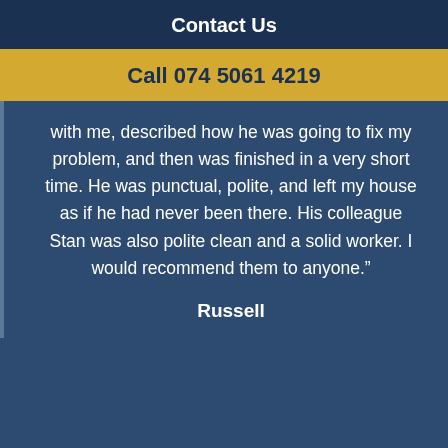Contact Us
Call 074 5061 4219
with me, described how he was going to fix my problem, and then was finished in a very short time. He was punctual, polite, and left my house as if he had never been there. His colleague Stan was also polite clean and a solid worker. I would recommend them to anyone.”
Russell